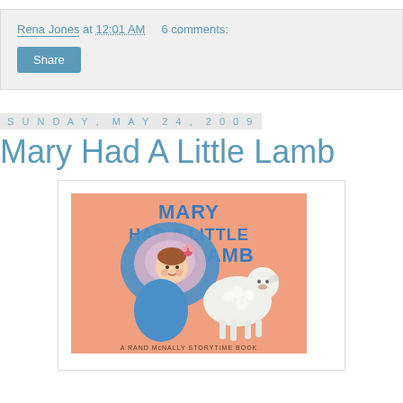Rena Jones at 12:01 AM   6 comments:
Share
Sunday, May 24, 2009
Mary Had A Little Lamb
[Figure (photo): Book cover of 'Mary Had A Little Lamb' - a Rand McNally Storytime Book featuring an illustration of a girl in a blue bonnet and dress hugging a white lamb, on a pink/salmon background with blue text title.]